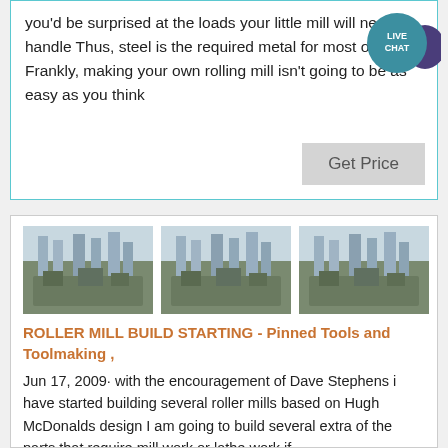you'd be surprised at the loads your little mill will need to handle Thus, steel is the required metal for most of it Frankly, making your own rolling mill isn't going to be as easy as you think
[Figure (photo): Live Chat bubble icon with purple tail]
Get Price
[Figure (photo): Three images of industrial roller mill equipment viewed from above]
ROLLER MILL BUILD STARTING - Pinned Tools and Toolmaking ,
Jun 17, 2009· with the encouragement of Dave Stephens i have started building several roller mills based on Hugh McDonalds design I am going to build several extra of the parts that require mill work or lathe work if